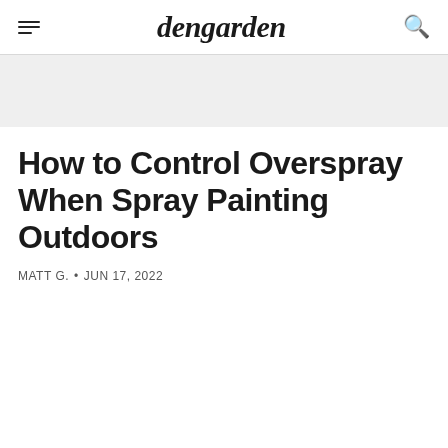dengarden
How to Control Overspray When Spray Painting Outdoors
MATT G. • JUN 17, 2022